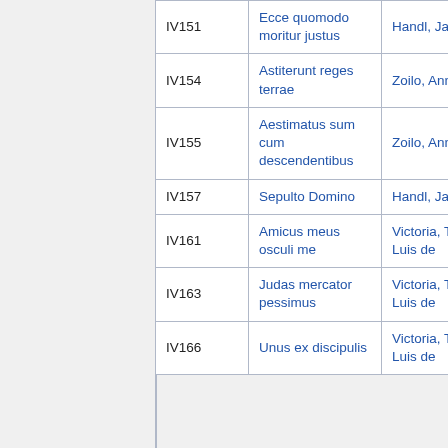| ID | Title | Composer |
| --- | --- | --- |
| IV151 | Ecce quomodo moritur justus | Handl, Jacob |
| IV154 | Astiterunt reges terrae | Zoilo, Annibale |
| IV155 | Aestimatus sum cum descendentibus | Zoilo, Annibale |
| IV157 | Sepulto Domino | Handl, Jacob |
| IV161 | Amicus meus osculi me | Victoria, Tomás Luis de |
| IV163 | Judas mercator pessimus | Victoria, Tomás Luis de |
| IV166 | Unus ex discipulis | Victoria, Tomás Luis de |